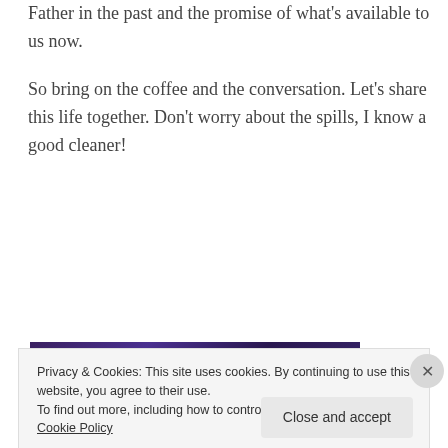Father in the past and the promise of what's available to us now.
So bring on the coffee and the conversation. Let's share this life together. Don't worry about the spills, I know a good cleaner!
[Figure (infographic): Advertisement banner: photo of person photographing sunset, text 'Over 150,000 5-star reviews', Day One Journal logo]
[Figure (photo): Purple/dark landscape image]
Privacy & Cookies: This site uses cookies. By continuing to use this website, you agree to their use.
To find out more, including how to control cookies, see here: Cookie Policy
Close and accept